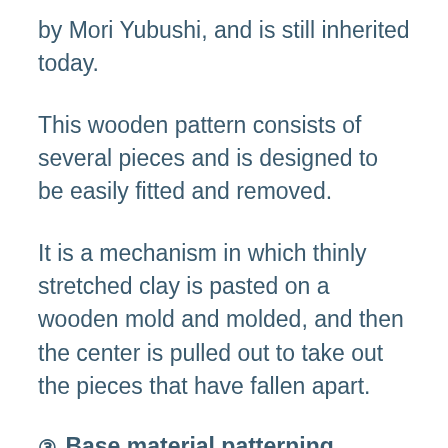by Mori Yubushi, and is still inherited today.
This wooden pattern consists of several pieces and is designed to be easily fitted and removed.
It is a mechanism in which thinly stretched clay is pasted on a wooden mold and molded, and then the center is pulled out to take out the pieces that have fallen apart.
③ Base material patterning
This ceramic is made of...